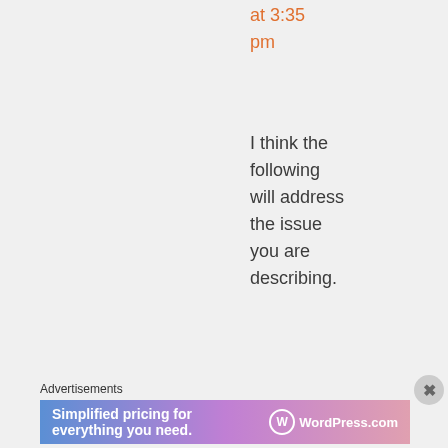at 3:35 pm
I think the following will address the issue you are describing.
Advertisements
[Figure (screenshot): WordPress.com advertisement banner: 'Simplified pricing for everything you need.' with WordPress.com logo]